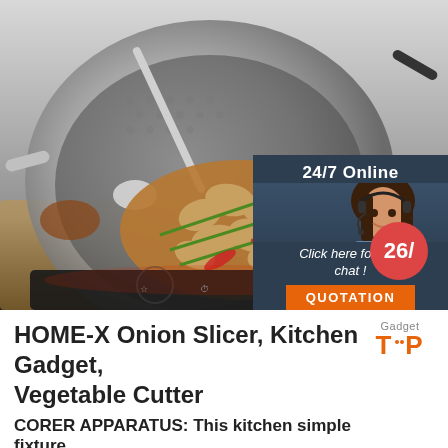[Figure (photo): Product photo showing a stainless steel wok/pan on an induction cooktop with clams and vegetables, with a customer service chat overlay on the right (24/7 Online, woman with headset, Click here for free chat!, QUOTATION button) and a circular badge showing '26/']
HOME-X Onion Slicer, Kitchen Gadget, Vegetable Cutter
CORER APPARATUS: This kitchen simple fixture…